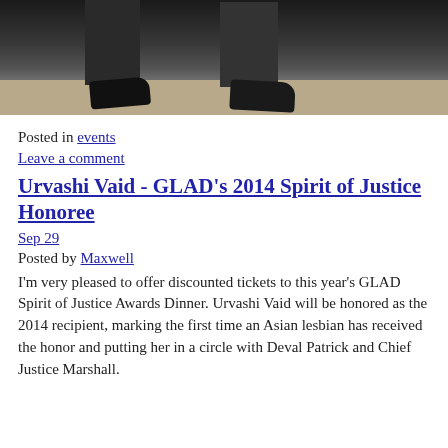[Figure (photo): Cropped photo showing legs and shoes of two people standing on a stone tile floor, wearing dark trousers and black shoes.]
Posted in events
Leave a comment
Urvashi Vaid - GLAD's 2014 Spirit of Justice Honoree
Sep 29
Posted by Maxwell
I'm very pleased to offer discounted tickets to this year's GLAD Spirit of Justice Awards Dinner. Urvashi Vaid will be honored as the 2014 recipient, marking the first time an Asian lesbian has received the honor and putting her in a circle with Deval Patrick and Chief Justice Marshall.